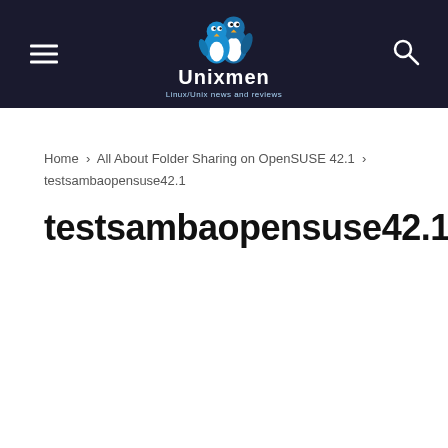Unixmen – Linux/Unix news and reviews
Home › All About Folder Sharing on OpenSUSE 42.1 › testsambaopensuse42.1
testsambaopensuse42.1